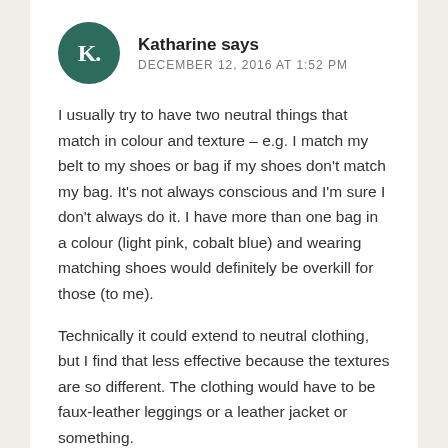[Figure (other): Dark green circular avatar with white letter K. and period]
Katharine says
DECEMBER 12, 2016 AT 1:52 PM
I usually try to have two neutral things that match in colour and texture – e.g. I match my belt to my shoes or bag if my shoes don't match my bag. It's not always conscious and I'm sure I don't always do it. I have more than one bag in a colour (light pink, cobalt blue) and wearing matching shoes would definitely be overkill for those (to me).
Technically it could extend to neutral clothing, but I find that less effective because the textures are so different. The clothing would have to be faux-leather leggings or a leather jacket or something.
REPLY